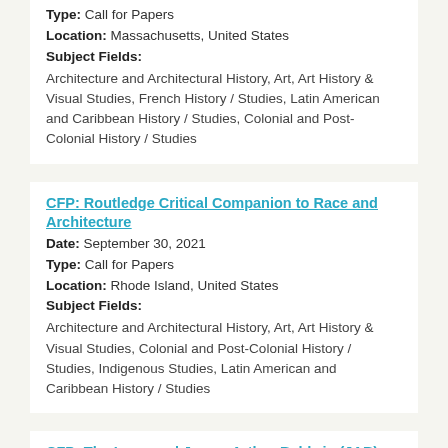Type: Call for Papers
Location: Massachusetts, United States
Subject Fields:
Architecture and Architectural History, Art, Art History & Visual Studies, French History / Studies, Latin American and Caribbean History / Studies, Colonial and Post-Colonial History / Studies
CFP: Routledge Critical Companion to Race and Architecture
Date: September 30, 2021
Type: Call for Papers
Location: Rhode Island, United States
Subject Fields:
Architecture and Architectural History, Art, Art History & Visual Studies, Colonial and Post-Colonial History / Studies, Indigenous Studies, Latin American and Caribbean History / Studies
CFP: The Inaugural James Arthur Baldwin (JAB) Symposium – Deadline September 1, 2021
Date: November 5, 2021 to November 6, 2021